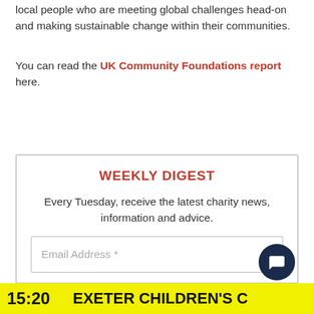local people who are meeting global challenges head-on and making sustainable change within their communities.
You can read the UK Community Foundations report here.
WEEKLY DIGEST
Every Tuesday, receive the latest charity news, information and advice.
Email Address *
15:20  EXETER CHILDREN'S C